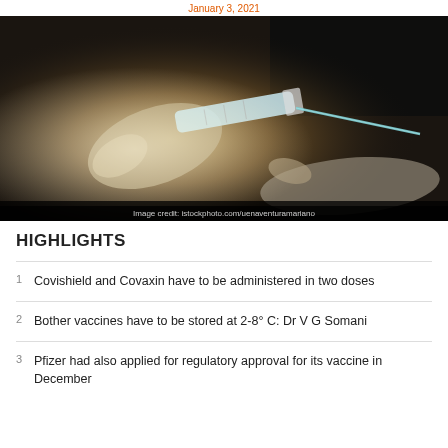January 3, 2021
[Figure (photo): Close-up photograph of gloved hands administering a vaccine injection with a syringe into a person's arm, backlit with bright light]
Image credit: istockphoto.com/uenaventuramariano
HIGHLIGHTS
Covishield and Covaxin have to be administered in two doses
Bother vaccines have to be stored at 2-8° C: Dr V G Somani
Pfizer had also applied for regulatory approval for its vaccine in December